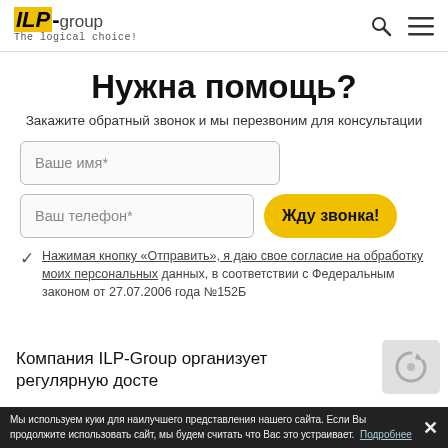ILP-group The logical choice!
Нужна помощь?
Закажите обратный звонок и мы перезвоним для консультации
Ваше имя*
Ваш телефон*
Жду звонка!
Нажимая кнопку «Отправить», я даю свое согласие на обработку моих персональных данных, в соответствии с Федеральным законом от 27.07.2006 года №152Б
Компания ILP-Group организует регулярную дост...
Мы используем куки для наилучшего представления нашего сайта. Если Вы продолжите использовать сайт, мы будем считать что Вас это устраивает. Подробнее